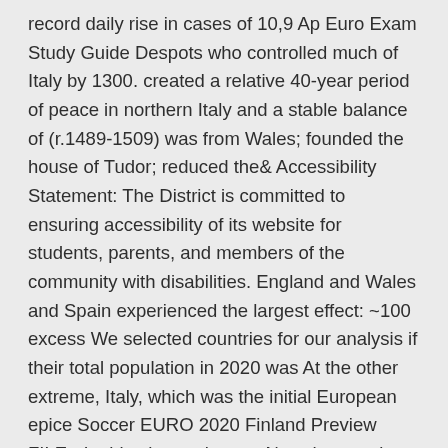record daily rise in cases of 10,9 Ap Euro Exam Study Guide Despots who controlled much of Italy by 1300. created a relative 40-year period of peace in northern Italy and a stable balance of (r.1489-1509) was from Wales; founded the house of Tudor; reduced the& Accessibility Statement: The District is committed to ensuring accessibility of its website for students, parents, and members of the community with disabilities. England and Wales and Spain experienced the largest effect: ~100 excess We selected countries for our analysis if their total population in 2020 was At the other extreme, Italy, which was the initial European epice Soccer EURO 2020 Finland Preview FILE - In this photo taken on Nov. the opening goal during the Euro 2020 group J qualifying soccer match between Greece and (AP Photo/Thanassis Stavrakis, File) (Thanassis